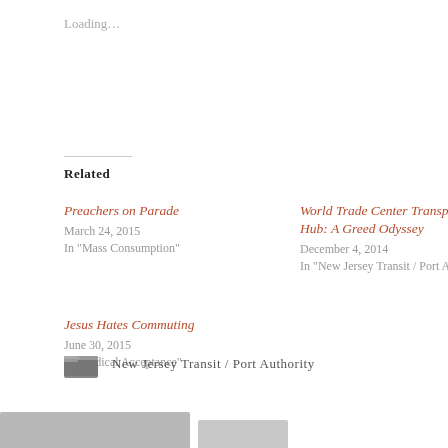Loading…
Related
Preachers on Parade
March 24, 2015
In "Mass Consumption"
World Trade Center Transportation Hub: A Greed Odyssey
December 4, 2014
In "New Jersey Transit / Port Authority"
Jesus Hates Commuting
June 30, 2015
In "Radical Acceptance"
New Jersey Transit / Port Authority